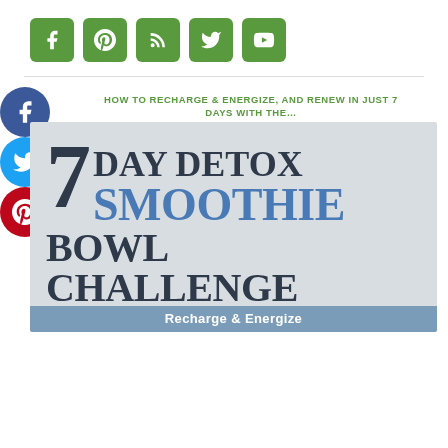[Figure (infographic): Row of five green rounded square social media icons: Facebook (f), Pinterest (P), RSS feed, Twitter (bird), YouTube (play button)]
[Figure (infographic): Three circular social media share buttons stacked vertically on left: Facebook (blue), Twitter (light blue), Pinterest (red)]
HOW TO RECHARGE & ENERGIZE, AND RENEW IN JUST 7 DAYS WITH THE…
[Figure (infographic): 7 Day Detox Smoothie Bowl Challenge promotional banner image with large text on light grey background. Shows '7 DAY DETOX SMOOTHIE BOWL CHALLENGE' with 'Recharge & Energize' subtitle banner at bottom.]